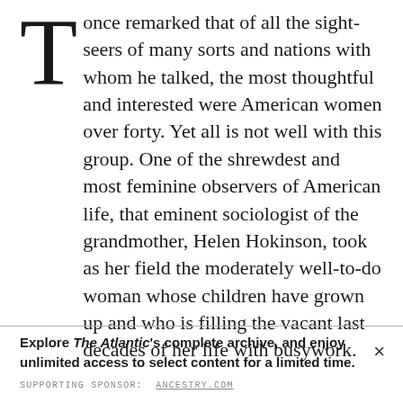T once remarked that of all the sight-seers of many sorts and nations with whom he talked, the most thoughtful and interested were American women over forty. Yet all is not well with this group. One of the shrewdest and most feminine observers of American life, that eminent sociologist of the grandmother, Helen Hokinson, took as her field the moderately well-to-do woman whose children have grown up and who is filling the vacant last decades of her life with busywork.
Explore The Atlantic's complete archive, and enjoy unlimited access to select content for a limited time.
SUPPORTING SPONSOR:  ANCESTRY.COM